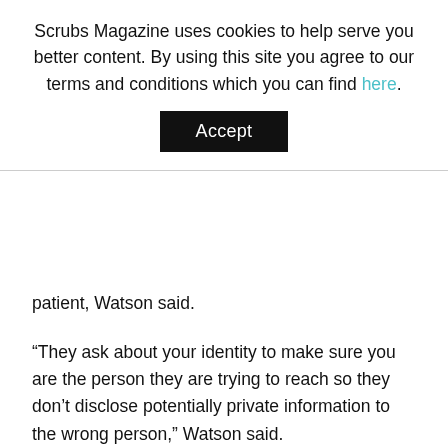Scrubs Magazine uses cookies to help serve you better content. By using this site you agree to our terms and conditions which you can find here.
Accept
patient, Watson said.
“They ask about your identity to make sure you are the person they are trying to reach so they don’t disclose potentially private information to the wrong person,” Watson said.
The tracers can also help people who must isolate or quarantine by connecting them with resources, such as food or medicine delivery.
“Some can even provide you with a separate place to quarantine safely” if, for example, you live in a